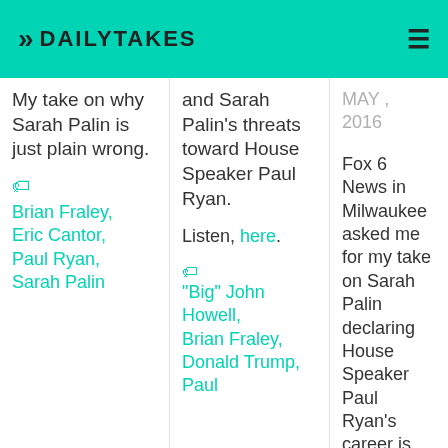>> DAILYTAKES
My take on why Sarah Palin is just plain wrong.
Brian Fraley, Eric Cantor, Paul Ryan, Sarah Palin
and Sarah Palin's threats toward House Speaker Paul Ryan.

Listen, here.
"Big" John Howell, Brian Fraley, Donald Trump, Paul
MAY , 2016
Fox 6 News in Milwaukee asked me for my take on Sarah Palin declaring House Speaker Paul Ryan's career is over.